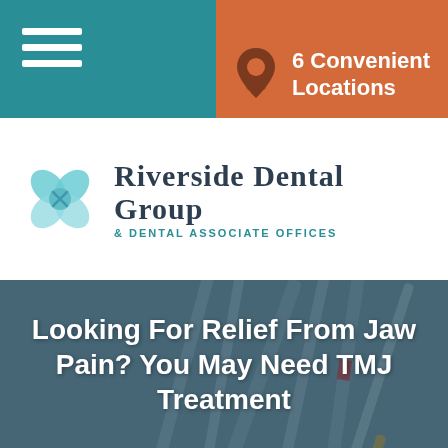[Figure (logo): Riverside Dental Group & Dental Associate Offices logo with teal flower emblem]
6 Convenient Locations
Looking For Relief From Jaw Pain? You May Need TMJ Treatment